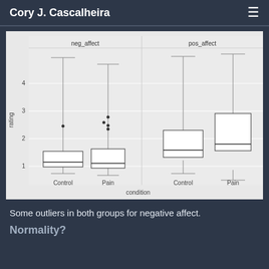Cory J. Cascalheira
[Figure (grouped-bar-chart): Two side-by-side box plots. Left panel labeled neg_affect shows Control and Pain groups with low ratings around 1, with outliers up to ~2.5. Right panel labeled pos_affect shows Control and Pain groups with higher ratings around 2.8-3.1, with whiskers extending to ~4.5. Y-axis labeled 'rating' with values 1-4. X-axis labeled 'condition' with categories Control and Pain.]
Some outliers in both groups for negative affect.
Normality?